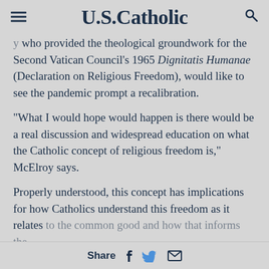U.S.Catholic
who provided the theological groundwork for the Second Vatican Council's 1965 Dignitatis Humanae (Declaration on Religious Freedom), would like to see the pandemic prompt a recalibration.
“What I would hope would happen is there would be a real discussion and widespread education on what the Catholic concept of religious freedom is,” McElroy says.
Properly understood, this concept has implications for how Catholics understand this freedom as it relates to the common good and how that informs the
Share